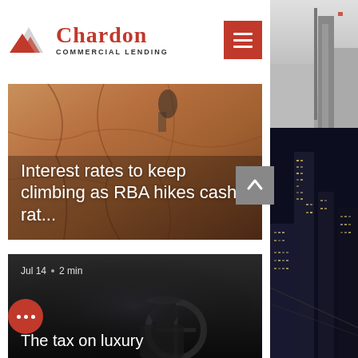Chardon COMMERCIAL LENDING
[Figure (screenshot): Article card with rock-climbing background image. White text overlay reads: 'Interest rates to keep climbing as RBA hikes cash rat...']
Interest rates to keep climbing as RBA hikes cash rat...
[Figure (screenshot): Article card with dark car/driver background image. Meta: 'Jul 14 · 2 min'. Title overlay: 'The tax on luxury']
Jul 14 · 2 min
The tax on luxury